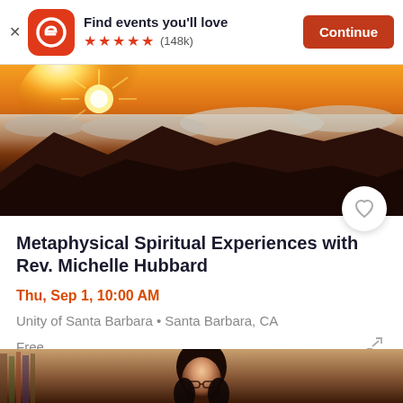[Figure (screenshot): Eventbrite app banner with logo, 'Find events you'll love', 5 orange stars, (148k) reviews, and orange Continue button]
[Figure (photo): Hero image of mountain sunrise with golden light rays, clouds below mountain peaks, dramatic silhouettes]
Metaphysical Spiritual Experiences with Rev. Michelle Hubbard
Thu, Sep 1, 10:00 AM
Unity of Santa Barbara • Santa Barbara, CA
Free
[Figure (photo): Portrait of Rev. Michelle Hubbard, a woman with dark hair and glasses, in front of bookshelves]